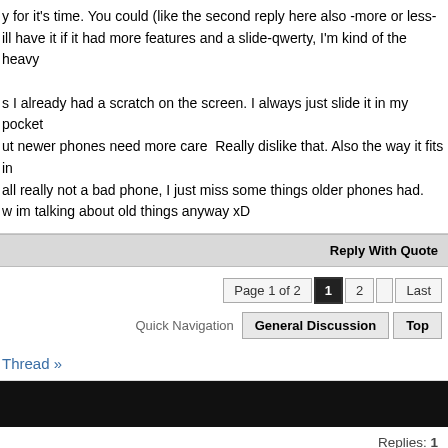y for it's time. You could (like the second reply here also -more or less- ill have it if it had more features and a slide-qwerty, I'm kind of the heavy

s I already had a scratch on the screen. I always just slide it in my pocket ut newer phones need more care  Really dislike that. Also the way it fits in all really not a bad phone, I just miss some things older phones had. w im talking about old things anyway xD
Reply With Quote
Page 1 of 2  1  2  Last
Quick Navigation  General Discussion  Top
Thread »
Replies: 1
Last Post: 12-28-2005, 03:21 PM
Replies: 10
Last Post: 09-17-2005, 05:44 PM
Replies: 4